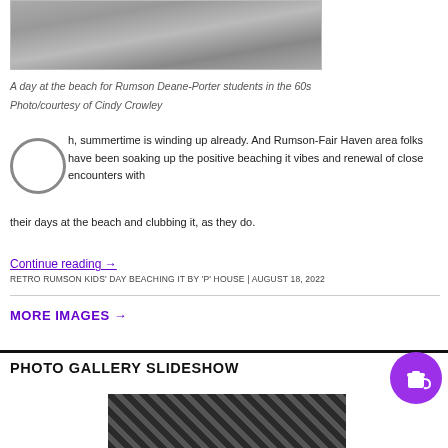[Figure (photo): Black and white photo of a beach scene with people, partial view at top of page (Rumson Deane-Porter students in the 60s)]
A day at the beach for Rumson Deane-Porter students in the 60s
Photo/courtesy of Cindy Crowley
Oh, summertime is winding up already. And Rumson-Fair Haven area folks have been soaking up the positive beaching it vibes and renewal of close encounters with their days at the beach and clubbing it, as they do.
Continue reading →
RETRO RUMSON KIDS' DAY BEACHING IT BY 'P' HOUSE | AUGUST 18, 2022
MORE IMAGES →
PHOTO GALLERY SLIDESHOW
[Figure (photo): Partial view of a photo gallery slideshow image at the bottom of the page]